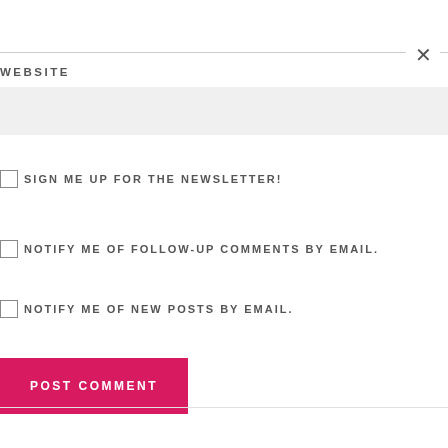WEBSITE
SIGN ME UP FOR THE NEWSLETTER!
NOTIFY ME OF FOLLOW-UP COMMENTS BY EMAIL.
NOTIFY ME OF NEW POSTS BY EMAIL.
POST COMMENT